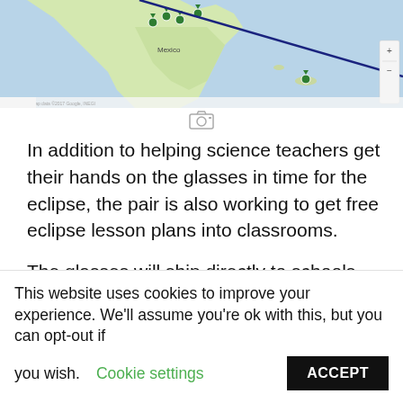[Figure (map): Google Maps screenshot showing North America and Caribbean with green location markers and a blue diagonal line crossing the map. Mexico labeled, navigation controls visible on right side.]
In addition to helping science teachers get their hands on the glasses in time for the eclipse, the pair is also working to get free eclipse lesson plans into classrooms.
The glasses will ship directly to schools and lesson plans are available for free download. Mystery Science can only ship one box of 200 pairs of glasses to each school.
This website uses cookies to improve your experience. We'll assume you're ok with this, but you can opt-out if you wish. Cookie settings ACCEPT